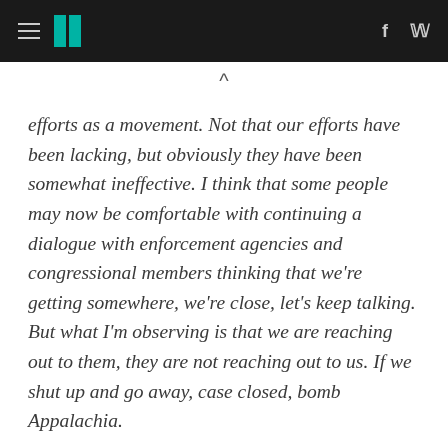HuffPost navigation header with hamburger menu, logo, Facebook and Twitter icons
efforts as a movement. Not that our efforts have been lacking, but obviously they have been somewhat ineffective. I think that some people may now be comfortable with continuing a dialogue with enforcement agencies and congressional members thinking that we're getting somewhere, we're close, let's keep talking. But what I'm observing is that we are reaching out to them, they are not reaching out to us. If we shut up and go away, case closed, bomb Appalachia.